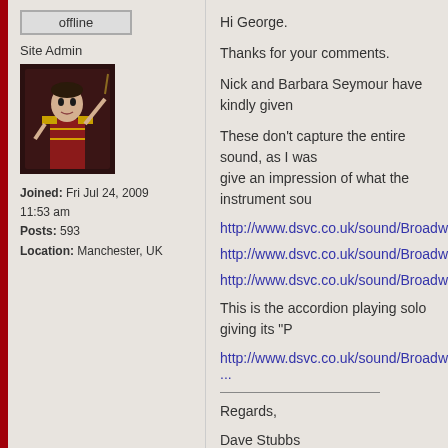[Figure (screenshot): Forum post layout with sidebar and content area. Sidebar shows offline button, Site Admin label, user avatar (figure in red marching band costume), and user info. Content area shows post text and links.]
offline
Site Admin
Joined: Fri Jul 24, 2009 11:53 am
Posts: 593
Location: Manchester, UK
Hi George.
Thanks for your comments.
Nick and Barbara Seymour have kindly given
These don't capture the entire sound, as I was
give an impression of what the instrument sou
http://www.dsvc.co.uk/sound/Broadway_Mortie
http://www.dsvc.co.uk/sound/Broadway_Mortie
http://www.dsvc.co.uk/sound/Broadway_Mortie
This is the accordion playing solo giving its "P
http://www.dsvc.co.uk/sound/Broadway_Mo ...
Regards,
Dave Stubbs